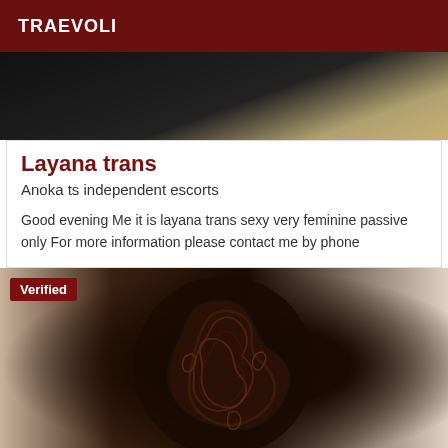TRAEVOLI
[Figure (photo): Top partial photo with dark and golden tones, possibly hair visible at right edge]
Layana trans
Anoka ts independent escorts
Good evening Me it is layana trans sexy very feminine passive only For more information please contact me by phone
[Figure (photo): Photo of a person with large ornate tattoos covering their back/shoulder area, dark background with light wall visible at right]